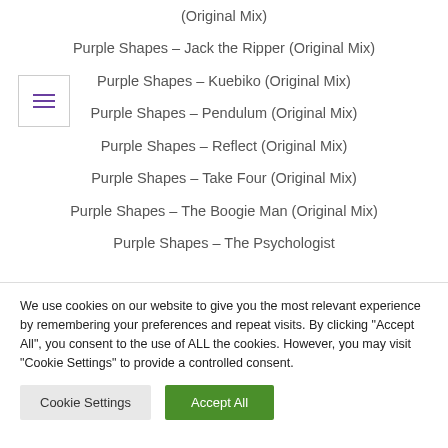(Original Mix)
Purple Shapes – Jack the Ripper (Original Mix)
Purple Shapes – Kuebiko (Original Mix)
Purple Shapes – Pendulum (Original Mix)
Purple Shapes – Reflect (Original Mix)
Purple Shapes – Take Four (Original Mix)
Purple Shapes – The Boogie Man (Original Mix)
Purple Shapes – The Psychologist
We use cookies on our website to give you the most relevant experience by remembering your preferences and repeat visits. By clicking "Accept All", you consent to the use of ALL the cookies. However, you may visit "Cookie Settings" to provide a controlled consent.